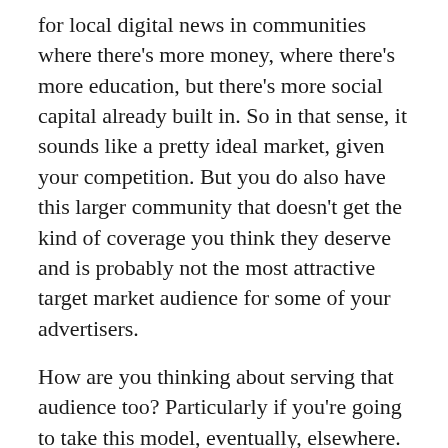for local digital news in communities where there's more money, where there's more education, but there's more social capital already built in. So in that sense, it sounds like a pretty ideal market, given your competition. But you do also have this larger community that doesn't get the kind of coverage you think they deserve and is probably not the most attractive target market audience for some of your advertisers.
How are you thinking about serving that audience too? Particularly if you're going to take this model, eventually, elsewhere.
DOCTOR: It's a very interesting question. I've had a series of very fun debates with my friend